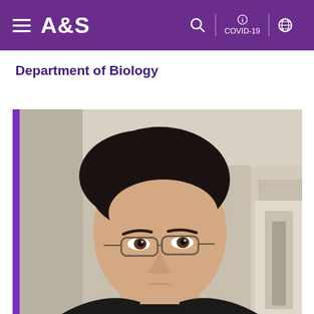A&S | COVID-19
Department of Biology
[Figure (photo): Portrait photo of a person with short dark hair and glasses, smiling, in front of a concrete building background. There is a purple vertical bar on the left side of the image.]